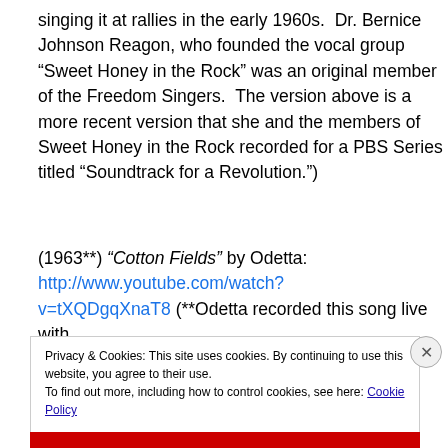singing it at rallies in the early 1960s.  Dr. Bernice Johnson Reagon, who founded the vocal group “Sweet Honey in the Rock” was an original member of the Freedom Singers.  The version above is a more recent version that she and the members of Sweet Honey in the Rock recorded for a PBS Series titled “Soundtrack for a Revolution.”)
(1963**) “Cotton Fields” by Odetta: http://www.youtube.com/watch?v=tXQDgqXnaT8 (**Odetta recorded this song live with
Privacy & Cookies: This site uses cookies. By continuing to use this website, you agree to their use.
To find out more, including how to control cookies, see here: Cookie Policy
Close and accept